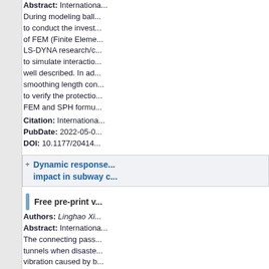Abstract: Internationa... During modeling ball... to conduct the invest... of FEM (Finite Eleme... LS-DYNA research/c... to simulate interactio... well described. In ad... smoothing length con... to verify the protectio... FEM and SPH formu...
Citation: Internationa...
PubDate: 2022-05-0...
DOI: 10.1177/20414...
Dynamic response... impact in subway c...
Free pre-print v...
Authors: Linghao Xi...
Abstract: Internationa... The connecting pass... tunnels when disaste... vibration caused by b... influence of blasting p... passage is studied, a... adjacent subway tun... Using Finite element... established. The non... Drucker Prager, Plas... The credibility of t...